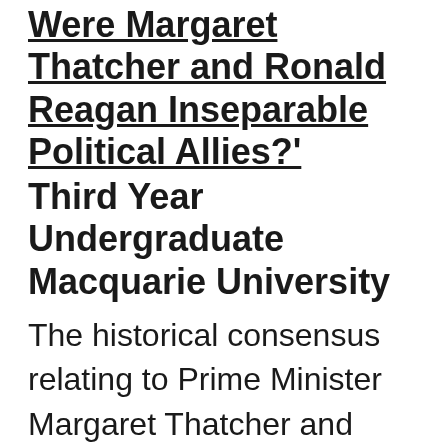Were Margaret Thatcher and Ronald Reagan Inseparable Political Allies?' Third Year Undergraduate Macquarie University
The historical consensus relating to Prime Minister Margaret Thatcher and President Ronald Reagan is that the two were “ideological soul-mates” who collaborated extremely closely to wage the Cold War. This article